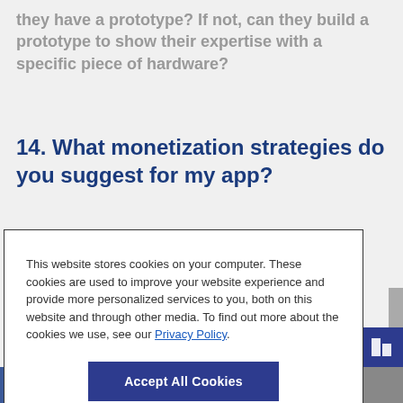they have a prototype? If not, can they build a prototype to show their expertise with a specific piece of hardware?
14. What monetization strategies do you suggest for my app?
This website stores cookies on your computer. These cookies are used to improve your website experience and provide more personalized services to you, both on this website and through other media. To find out more about the cookies we use, see our Privacy Policy.
Accept All Cookies